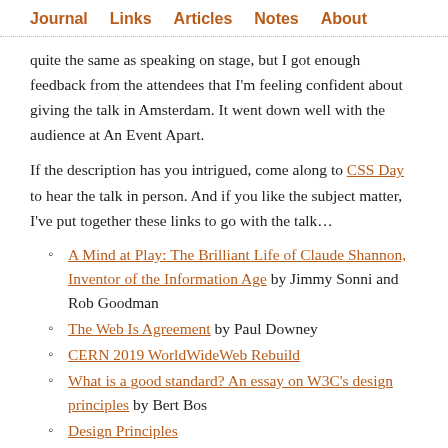Journal  Links  Articles  Notes  About
quite the same as speaking on stage, but I got enough feedback from the attendees that I'm feeling confident about giving the talk in Amsterdam. It went down well with the audience at An Event Apart.
If the description has you intrigued, come along to CSS Day to hear the talk in person. And if you like the subject matter, I've put together these links to go with the talk…
A Mind at Play: The Brilliant Life of Claude Shannon, Inventor of the Information Age by Jimmy Sonni and Rob Goodman
The Web Is Agreement by Paul Downey
CERN 2019 WorldWideWeb Rebuild
What is a good standard? An essay on W3C's design principles by Bert Bos
Design Principles
Tweet by Miriam Suzanne
Open UI